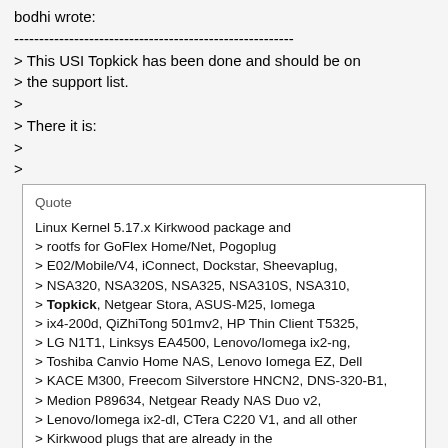bodhi wrote:
--------------------------------------------------------
> This USI Topkick has been done and should be on
> the support list.
>
> There it is:
>
>
Quote

Linux Kernel 5.17.x Kirkwood package and
> rootfs for GoFlex Home/Net, Pogoplug
> E02/Mobile/V4, iConnect, Dockstar, Sheevaplug,
> NSA320, NSA320S, NSA325, NSA310S, NSA310,
> Topkick, Netgear Stora, ASUS-M25, Iomega
> ix4-200d, QiZhiTong 501mv2, HP Thin Client T5325,
> LG N1T1, Linksys EA4500, Lenovo/Iomega ix2-ng,
> Toshiba Canvio Home NAS, Lenovo Iomega EZ, Dell
> KACE M300, Freecom Silverstore HNCN2, DNS-320-B1,
> Medion P89634, Netgear Ready NAS Duo v2,
> Lenovo/Iomega ix2-dl, CTera C220 V1, and all other
> Kirkwood plugs that are already in the
> mainline.
yeah I saw it was on the kernel list, but I didn't see a specific uboot build for it out of the 2017 uboot images available, so I'm assuming one was never conjured?